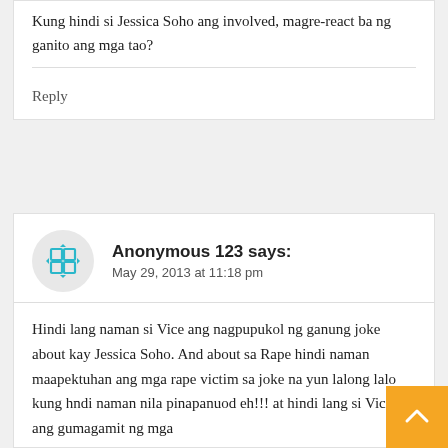Kung hindi si Jessica Soho ang involved, magre-react ba ng ganito ang mga tao?
Reply
Anonymous 123 says: May 29, 2013 at 11:18 pm
Hindi lang naman si Vice ang nagpupukol ng ganung joke about kay Jessica Soho. And about sa Rape hindi naman maapektuhan ang mga rape victim sa joke na yun lalong lalo kung hndi naman nila pinapanuod eh!!! at hindi lang si Vice ang gumagamit ng mga